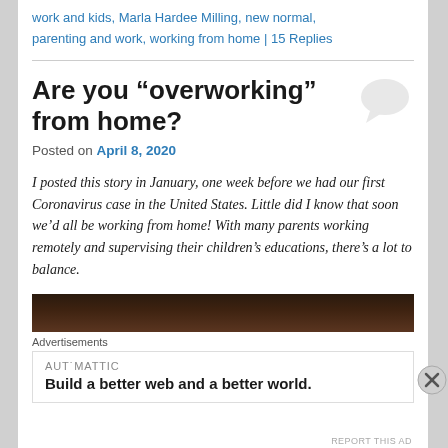work and kids, Marla Hardee Milling, new normal, parenting and work, working from home | 15 Replies
Are you “overworking” from home?
Posted on April 8, 2020
I posted this story in January, one week before we had our first Coronavirus case in the United States. Little did I know that soon we’d all be working from home! With many parents working remotely and supervising their children’s educations, there’s a lot to balance.
[Figure (photo): Dark interior photo, partially visible at the bottom of the article area]
Advertisements
AUTOMATTIC
Build a better web and a better world.